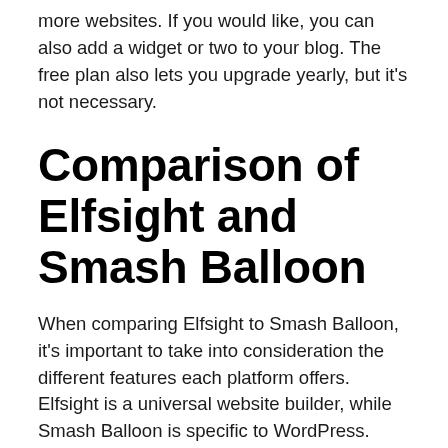more websites. If you would like, you can also add a widget or two to your blog. The free plan also lets you upgrade yearly, but it's not necessary.
Comparison of Elfsight and Smash Balloon
When comparing Elfsight to Smash Balloon, it's important to take into consideration the different features each platform offers. Elfsight is a universal website builder, while Smash Balloon is specific to WordPress. Both offer customizable social media feeds and apps. The latter even enables users to